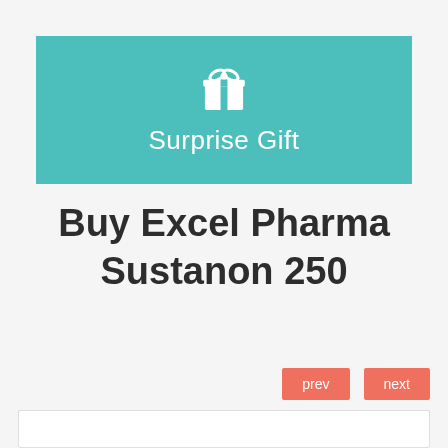[Figure (illustration): Teal/turquoise banner with a white gift box icon and text 'Surprise Gift']
Buy Excel Pharma Sustanon 250
prev
next